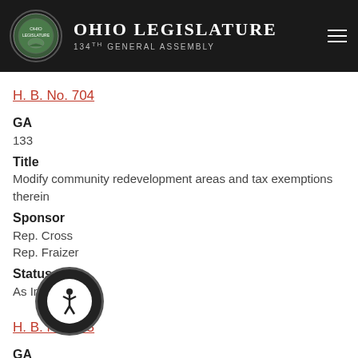Ohio Legislature 134th General Assembly
H. B. No. 704
GA
133
Title
Modify community redevelopment areas and tax exemptions therein
Sponsor
Rep. Cross
Rep. Fraizer
Status
As Introduced
H. B. No. 705
GA
133